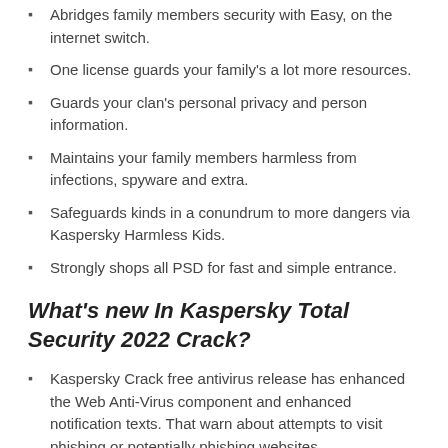Abridges family members security with Easy, on the internet switch.
One license guards your family's a lot more resources.
Guards your clan's personal privacy and person information.
Maintains your family members harmless from infections, spyware and extra.
Safeguards kinds in a conundrum to more dangers via Kaspersky Harmless Kids.
Strongly shops all PSD for fast and simple entrance.
What's new In Kaspersky Total Security 2022 Crack?
Kaspersky Crack free antivirus release has enhanced the Web Anti-Virus component and enhanced notification texts. That warn about attempts to visit phishing or potentially phishing websites.
When HTTPS traffic scan is off, the Kaspersky